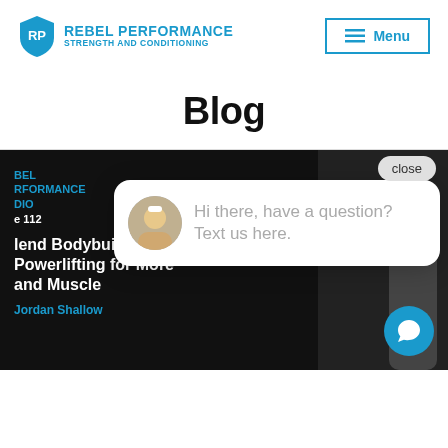REBEL PERFORMANCE STRENGTH AND CONDITIONING | Menu
Blog
[Figure (screenshot): Blog card with dark background showing 'BEL RFORMANCE DIO', Episode 112, partial headline 'lend Bodybuilding and Powerlifting for More and Muscle', author Jordan Shallow, with a chat popup overlay saying 'Hi there, have a question? Text us here.' and a close button, plus a blue chat FAB button.]